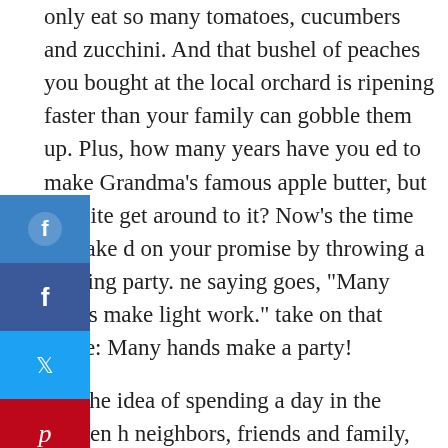only eat so many tomatoes, cucumbers and zucchini. And that bushel of peaches you bought at the local orchard is ripening faster than your family can gobble them up. Plus, how many years have you [want]ed to make Grandma's famous apple butter, but [nev]er quite get around to it? Now's the time to make [goo]d on your promise by throwing a canning party. [Th]e saying goes, "Many hands make light work." [Our] take on that quote: Many hands make a party!
[We l]ove the idea of spending a day in the kitchen [with] neighbors, friends and family, sharing the [labo]r (plus the equipment and the harvest) and learning from more experienced canners.
Set the tone for your extravaCANza with some simple country flair. Fresh flowers, a vintage tablecloth, burlap table accents and these Scentsy Warmers add just the right touch of homespun style